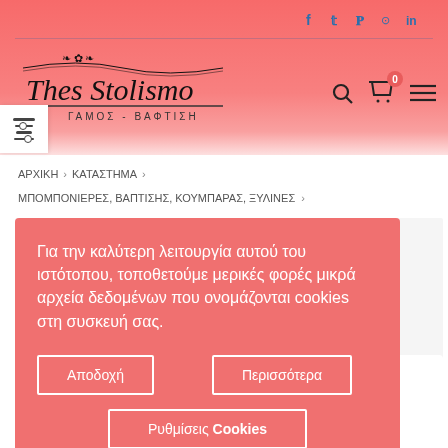[Figure (screenshot): E-commerce website header with coral/salmon gradient background, social media icons (Facebook, Twitter, Pinterest, Instagram, LinkedIn), logo 'Thes Stolismo' with subtitle 'ΓΑΜΟΣ - ΒΑΦΤΙΣΗ', search icon, cart icon with badge '0', hamburger menu icon, and filter icon.]
ΑΡΧΙΚΗ > ΚΑΤΑΣΤΗΜΑ >
ΜΠΟΜΠΟΝΙΕΡΕΣ, ΒΑΠΤΙΣΗΣ, ΚΟΥΜΠΑΡΑΣ, ΞΥΛΙΝΕΣ >
Για την καλύτερη λειτουργία αυτού του ιστότοπου, τοποθετούμε μερικές φορές μικρά αρχεία δεδομένων που ονομάζονται cookies στη συσκευή σας.
Αποδοχή
Περισσότερα
Ρυθμίσεις Cookies